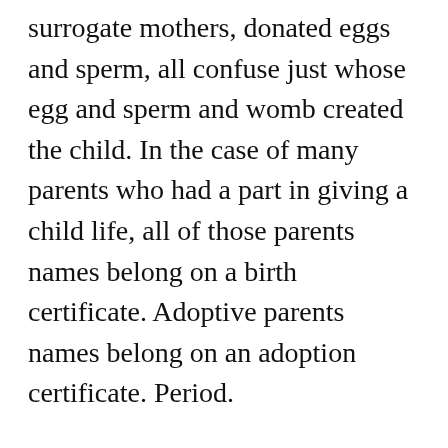reproductive technologies, surrogate mothers, donated eggs and sperm, all confuse just whose egg and sperm and womb created the child. In the case of many parents who had a part in giving a child life, all of those parents names belong on a birth certificate. Adoptive parents names belong on an adoption certificate. Period.
In my blog post two nights ago on